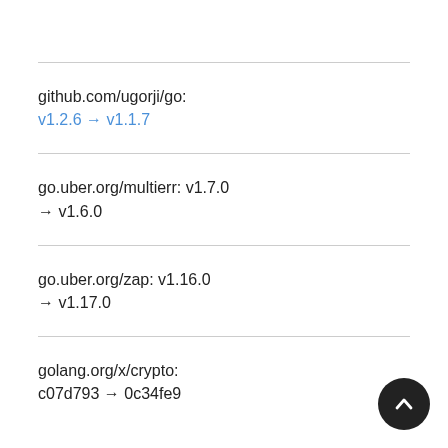github.com/ugorji/go:
v1.2.6 → v1.1.7
go.uber.org/multierr: v1.7.0 → v1.6.0
go.uber.org/zap: v1.16.0 → v1.17.0
golang.org/x/crypto:
c07d793 → 0c34fe9